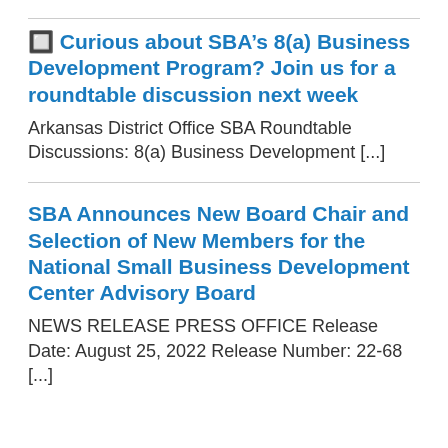🔲 Curious about SBA's 8(a) Business Development Program? Join us for a roundtable discussion next week
Arkansas District Office SBA Roundtable Discussions: 8(a) Business Development [...]
SBA Announces New Board Chair and Selection of New Members for the National Small Business Development Center Advisory Board
NEWS RELEASE PRESS OFFICE Release Date: August 25, 2022 Release Number: 22-68 [...]